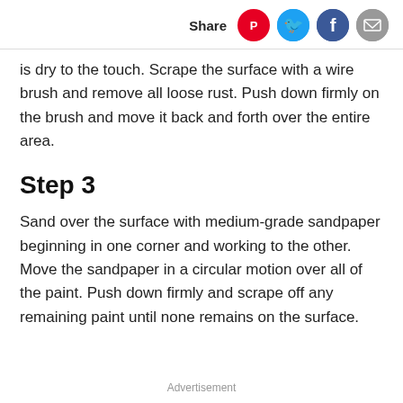Share
is dry to the touch. Scrape the surface with a wire brush and remove all loose rust. Push down firmly on the brush and move it back and forth over the entire area.
Step 3
Sand over the surface with medium-grade sandpaper beginning in one corner and working to the other. Move the sandpaper in a circular motion over all of the paint. Push down firmly and scrape off any remaining paint until none remains on the surface.
Advertisement